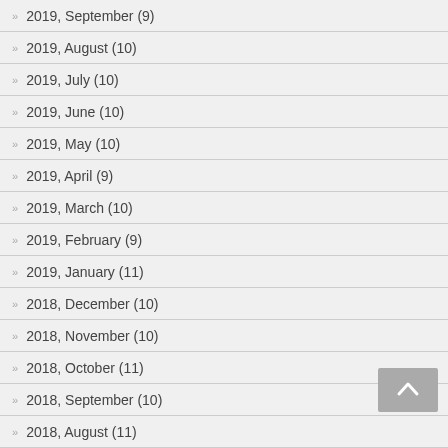2019, September (9)
2019, August (10)
2019, July (10)
2019, June (10)
2019, May (10)
2019, April (9)
2019, March (10)
2019, February (9)
2019, January (11)
2018, December (10)
2018, November (10)
2018, October (11)
2018, September (10)
2018, August (11)
2018, July (12)